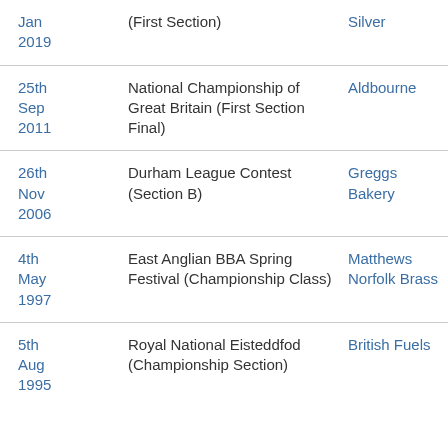| Date | Event | Result |
| --- | --- | --- |
| Jan 2019 | (First Section) | Silver |
| 25th Sep 2011 | National Championship of Great Britain (First Section Final) | Aldbourne |
| 26th Nov 2006 | Durham League Contest (Section B) | Greggs Bakery |
| 4th May 1997 | East Anglian BBA Spring Festival (Championship Class) | Matthews Norfolk Brass |
| 5th Aug 1995 | Royal National Eisteddfod (Championship Section) | British Fuels |